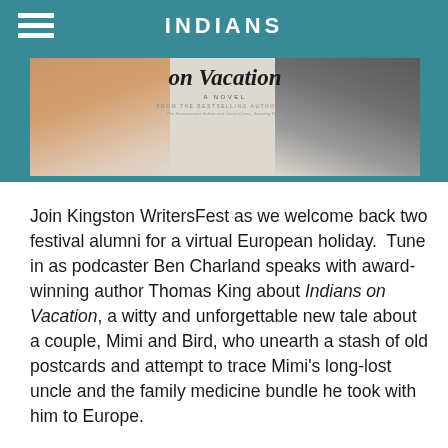INDIANS
[Figure (illustration): Book banner for 'Indians on Vacation' — a novel by Thomas King. Center text shows italic title 'on Vacation' with 'A NOVEL' below. Left side shows an elderly hand, right side shows a person in dark clothing. Background is teal/dark teal.]
Join Kingston WritersFest as we welcome back two festival alumni for a virtual European holiday.  Tune in as podcaster Ben Charland speaks with award-winning author Thomas King about Indians on Vacation, a witty and unforgettable new tale about a couple, Mimi and Bird, who unearth a stash of old postcards and attempt to trace Mimi's long-lost uncle and the family medicine bundle he took with him to Europe.